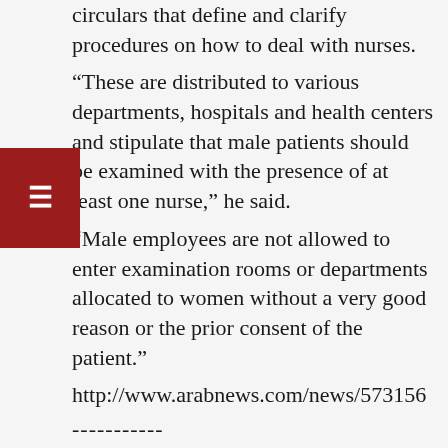circulars that define and clarify procedures on how to deal with nurses.
“These are distributed to various departments, hospitals and health centers and stipulate that male patients should be examined with the presence of at least one nurse,” he said.
“Male employees are not allowed to enter examination rooms or departments allocated to women without a very good reason or the prior consent of the patient.”
http://www.arabnews.com/news/573156
-----------
In UK, Girl Suspended for Having Boyfriend
May 19, 2014
A UK teacher allegedly broke into a female